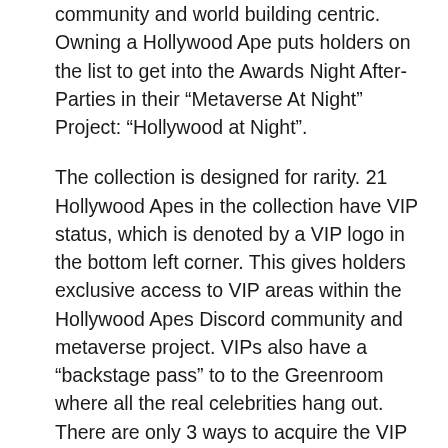community and world building centric. Owning a Hollywood Ape puts holders on the list to get into the Awards Night After-Parties in their “Metaverse At Night” Project: “Hollywood at Night”.
The collection is designed for rarity. 21 Hollywood Apes in the collection have VIP status, which is denoted by a VIP logo in the bottom left corner. This gives holders exclusive access to VIP areas within the Hollywood Apes Discord community and metaverse project. VIPs also have a “backstage pass” to to the Greenroom where all the real celebrities hang out. There are only 3 ways to acquire the VIP NFTs: 9 by Auction, 3 by Giveaway, and 9 by Award-Winning through the Mystery Ape Reveal.
First is by Opportunity. 9 Pre-minted VIP Hollywood Apes went on Auction on OpenSea. The auction